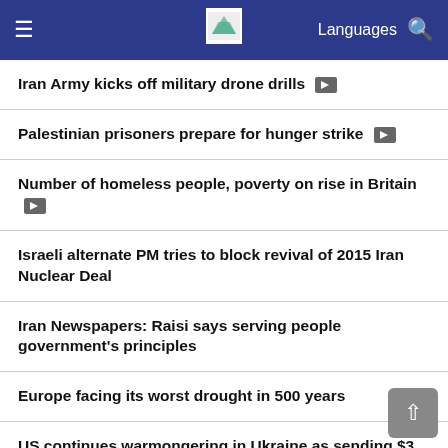Languages
Iran Army kicks off military drone drills
Palestinian prisoners prepare for hunger strike
Number of homeless people, poverty on rise in Britain
Israeli alternate PM tries to block revival of 2015 Iran Nuclear Deal
Iran Newspapers: Raisi says serving people government's principles
Europe facing its worst drought in 500 years
US continues warmongering in Ukraine as sending $3 billion military aide
Somali president declares war against Al Shabaab
Iraqi judiciary decides to resume work of courts tomorrow